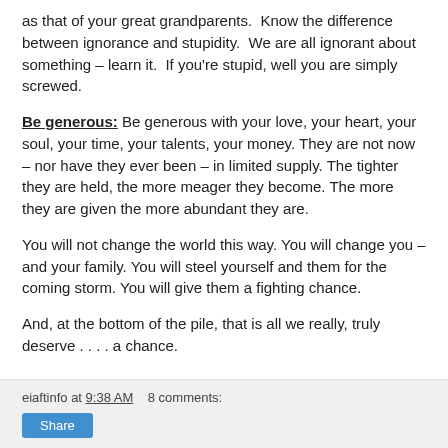as that of your great grandparents.  Know the difference between ignorance and stupidity.  We are all ignorant about something – learn it.  If you're stupid, well you are simply screwed.
Be generous: Be generous with your love, your heart, your soul, your time, your talents, your money. They are not now – nor have they ever been – in limited supply. The tighter they are held, the more meager they become. The more they are given the more abundant they are.
You will not change the world this way. You will change you – and your family. You will steel yourself and them for the coming storm. You will give them a fighting chance.
And, at the bottom of the pile, that is all we really, truly deserve . . . . a chance.
eiaftinfo at 9:38 AM    8 comments:  Share